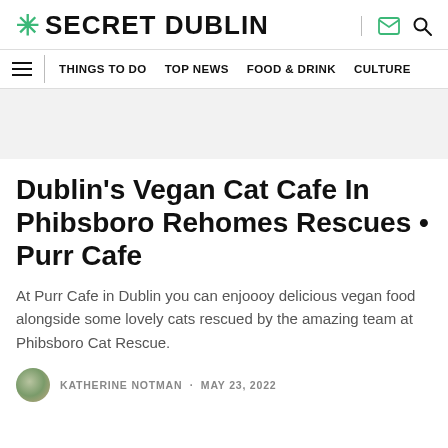SECRET DUBLIN
THINGS TO DO  TOP NEWS  FOOD & DRINK  CULTURE
Dublin's Vegan Cat Cafe In Phibsboro Rehomes Rescues • Purr Cafe
At Purr Cafe in Dublin you can enjoooy delicious vegan food alongside some lovely cats rescued by the amazing team at Phibsboro Cat Rescue.
KATHERINE NOTMAN · MAY 23, 2022